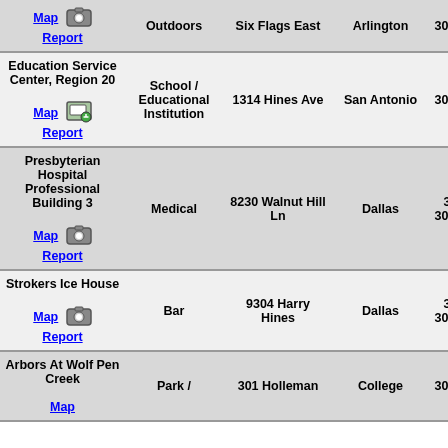| Name/Links | Type | Address | City | Rule |
| --- | --- | --- | --- | --- |
| [Map] [camera] Report | Outdoors | Six Flags East | Arlington | 30.07 Sign |
| Education Service Center, Region 20
Map [image] Report | School / Educational Institution | 1314 Hines Ave | San Antonio | 30.06 Sign |
| Presbyterian Hospital Professional Building 3
Map [camera] Report | Medical | 8230 Walnut Hill Ln | Dallas | 30.06 & 30.07 Sign |
| Strokers Ice House
Map [camera] Report | Bar | 9304 Harry Hines | Dallas | 30.06 & 30.07 Sign |
| Arbors At Wolf Pen Creek
Map | Park / | 301 Holleman | College | 30.06 Sign |